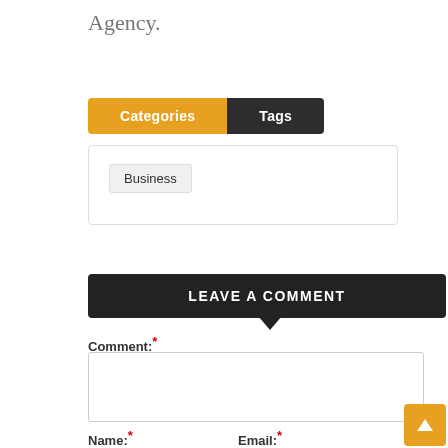Agency.
Categories | Tags
Business
LEAVE A COMMENT
Comment:*
Name:*
Email:*